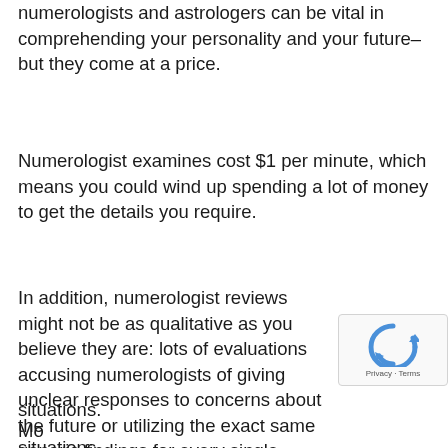numerologists and astrologers can be vital in comprehending your personality and your future– but they come at a price.
Numerologist examines cost $1 per minute, which means you could wind up spending a lot of money to get the details you require.
In addition, numerologist reviews might not be as qualitative as you believe they are: lots of evaluations accusing numerologists of giving unclear responses to concerns about the future or utilizing the exact same generic findings for every single single client without considering their private characters or situations.
Mo...